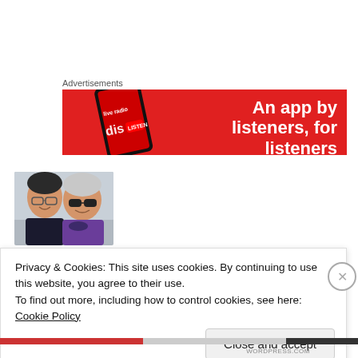Advertisements
[Figure (photo): Red advertisement banner for a podcast/music app with text 'An app by listeners, for listeners' and a smartphone showing an app interface on the left]
[Figure (photo): Photo of two women smiling outdoors, one with dark hair and glasses, one with white/silver hair and sunglasses]
Privacy & Cookies: This site uses cookies. By continuing to use this website, you agree to their use.
To find out more, including how to control cookies, see here: Cookie Policy
Close and accept